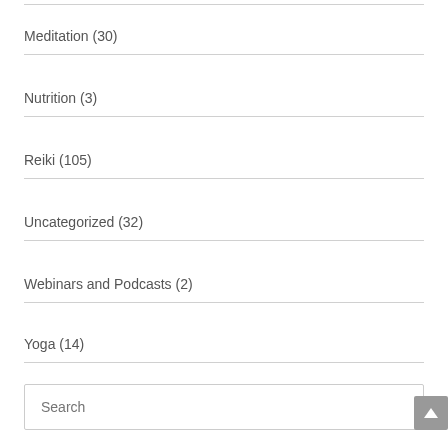Meditation (30)
Nutrition (3)
Reiki (105)
Uncategorized (32)
Webinars and Podcasts (2)
Yoga (14)
Search